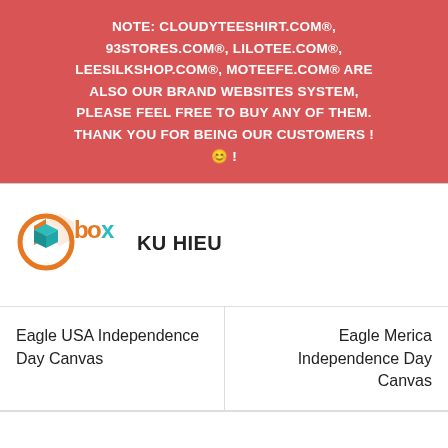NOTE: CLOUDYTEESHIRT.COM®, 93STORES.COM®, LILOTEE.COM®, LEESILKSHOP.COM®, MOTEEFE.COM® ARE ALSO OUR BRAND WEBSITES SYSTEM, PLEASE FEEL FREE TO BUY ANY OF THEM. THANK YOU FOR BEING OUR CUSTOMERS ! 😊 !
[Figure (logo): Box logo — orange and teal 3D box icon with stylized 'box' wordmark in orange and teal]
KU HIEU
| Eagle USA Independence Day Canvas | Eagle Merica Independence Day Canvas |